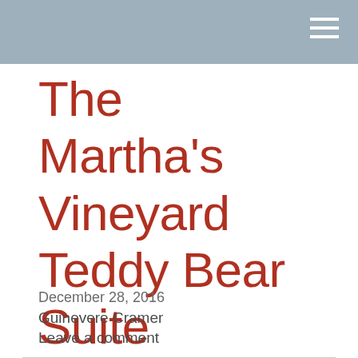The Martha's Vineyard Teddy Bear Suite Fundraiser Continues Raising Money To Fight Childhood Hunger
December 28, 2016
Guinevere Cramer
Leave a comment